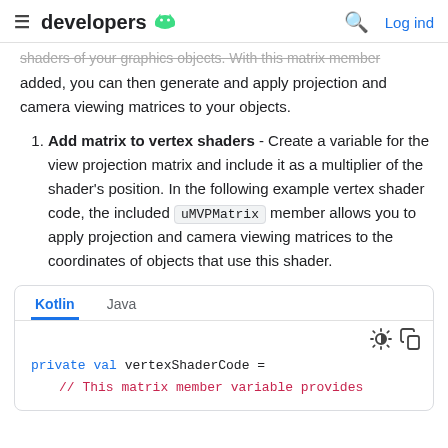≡ developers 🤖  🔍 Log ind
shaders of your graphics objects. With this matrix member added, you can then generate and apply projection and camera viewing matrices to your objects.
Add matrix to vertex shaders - Create a variable for the view projection matrix and include it as a multiplier of the shader's position. In the following example vertex shader code, the included uMVPMatrix member allows you to apply projection and camera viewing matrices to the coordinates of objects that use this shader.
[Figure (screenshot): Code block with Kotlin and Java tabs showing: private val vertexShaderCode = // This matrix member variable provides]